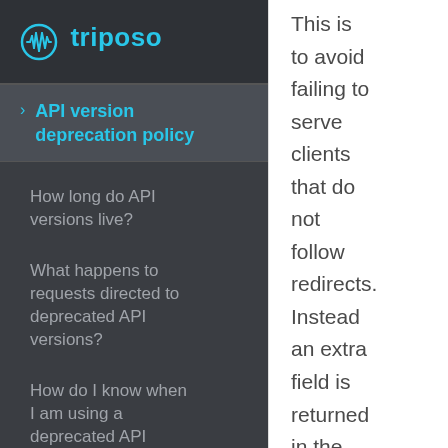[Figure (logo): Triposo logo with circular waveform icon in cyan and 'triposo' text in cyan]
API version deprecation policy
How long do API versions live?
What happens to requests directed to deprecated API versions?
How do I know when I am using a deprecated API version?
Deprecation status extra field
This is to avoid failing to serve clients that do not follow redirects. Instead an extra field is returned in the response (see the relevant section for